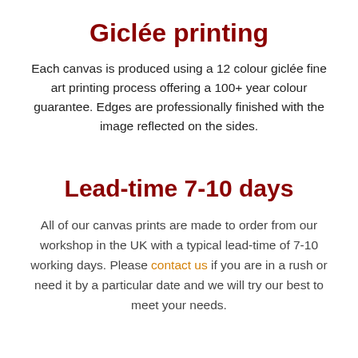Giclée printing
Each canvas is produced using a 12 colour giclée fine art printing process offering a 100+ year colour guarantee. Edges are professionally finished with the image reflected on the sides.
Lead-time 7-10 days
All of our canvas prints are made to order from our workshop in the UK with a typical lead-time of 7-10 working days. Please contact us if you are in a rush or need it by a particular date and we will try our best to meet your needs.